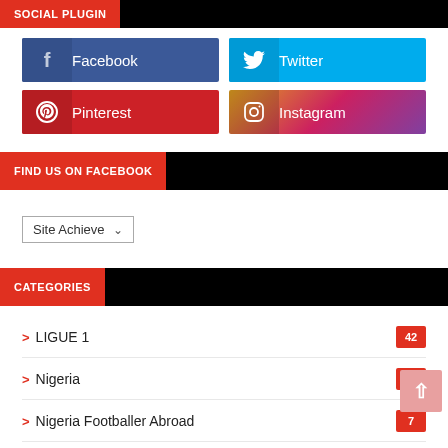SOCIAL PLUGIN
Facebook
Twitter
Pinterest
Instagram
FIND US ON FACEBOOK
Site Achieve
CATEGORIES
LIGUE 1  42
Nigeria  17
Nigeria Footballer Abroad  7
NNL  17